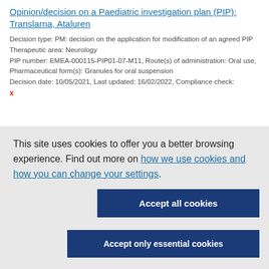Opinion/decision on a Paediatric investigation plan (PIP): Translarna, Ataluren
Decision type: PM: decision on the application for modification of an agreed PIP
Therapeutic area: Neurology
PIP number: EMEA-000115-PIP01-07-M11, Route(s) of administration: Oral use, Pharmaceutical form(s): Granules for oral suspension
Decision date: 10/05/2021, Last updated: 16/02/2022, Compliance check: x
This site uses cookies to offer you a better browsing experience. Find out more on how we use cookies and how you can change your settings.